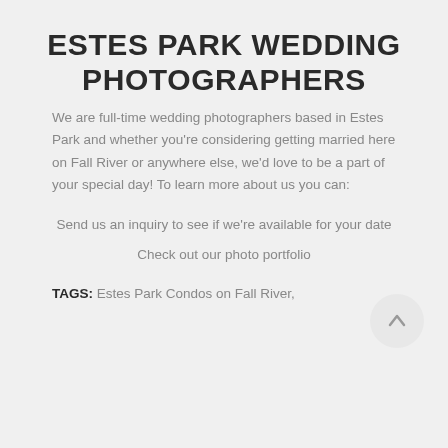ESTES PARK WEDDING PHOTOGRAPHERS
We are full-time wedding photographers based in Estes Park and whether you're considering getting married here on Fall River or anywhere else, we'd love to be a part of your special day! To learn more about us you can:
Send us an inquiry to see if we're available for your date
Check out our photo portfolio
TAGS: Estes Park Condos on Fall River,